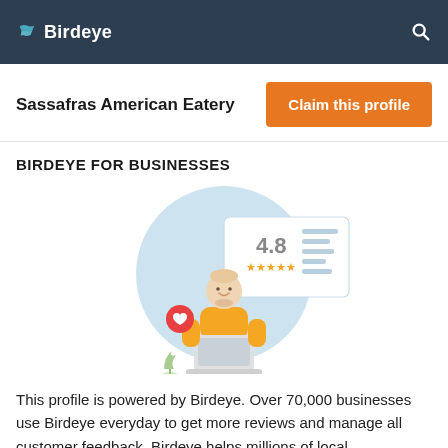Birdeye
Sassafras American Eatery
Claim this profile
BIRDEYE FOR BUSINESSES
[Figure (illustration): Illustration of a person sitting at a laptop computer with a large blue circle behind them, a rating card showing 4.8 stars, and a red heart notification bubble on the left side.]
This profile is powered by Birdeye. Over 70,000 businesses use Birdeye everyday to get more reviews and manage all customer feedback. Birdeye helps millions of local